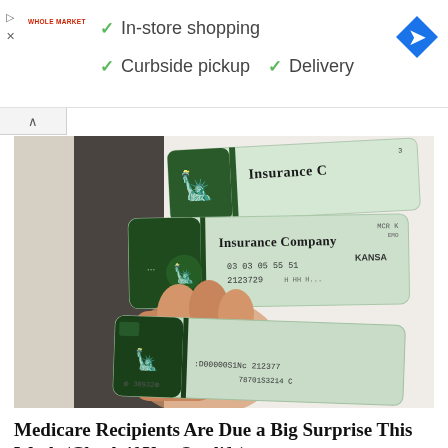[Figure (photo): Advertisement banner for Whole Market showing green checkmarks for In-store shopping, Curbside pickup, and Delivery options with Google Maps icon]
[Figure (photo): A hand holding multiple insurance company checks/cards showing text Insurance Company, numbers 03 03 05, 55, 51, 2123729 and routing/account numbers at bottom]
Medicare Recipients Are Due a Big Surprise This Week (Check if You Qualify)
Everyday Finance